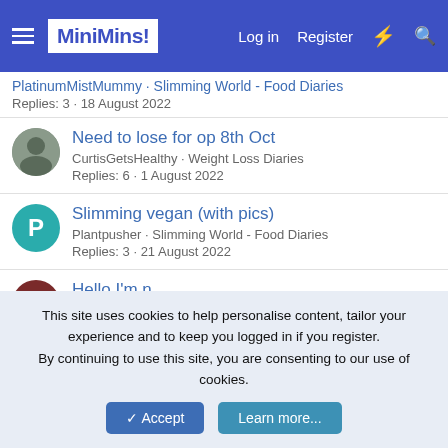MiniMins - Log in - Register
Replies: 3 · 18 August 2022
Need to lose for op 8th Oct
CurtisGetsHealthy · Weight Loss Diaries
Replies: 6 · 1 August 2022
Slimming vegan (with pics)
Plantpusher · Slimming World - Food Diaries
Replies: 3 · 21 August 2022
Hello I'm n...
JuniperP · Intro...
Replies: 0 · W...
Hi!
Check out our Instagram page MiniMinsDotCom for new content, recipies, ideas and motivation!
This site uses cookies to help personalise content, tailor your experience and to keep you logged in if you register.
By continuing to use this site, you are consenting to our use of cookies.